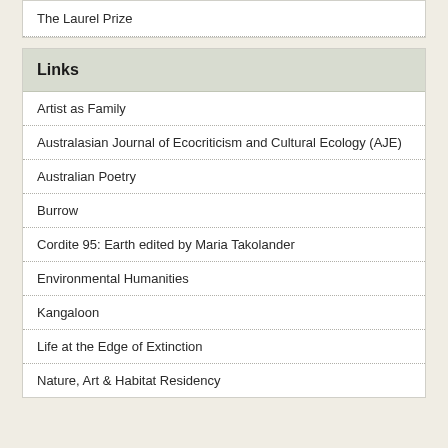The Laurel Prize
Links
Artist as Family
Australasian Journal of Ecocriticism and Cultural Ecology (AJE)
Australian Poetry
Burrow
Cordite 95: Earth edited by Maria Takolander
Environmental Humanities
Kangaloon
Life at the Edge of Extinction
Nature, Art & Habitat Residency